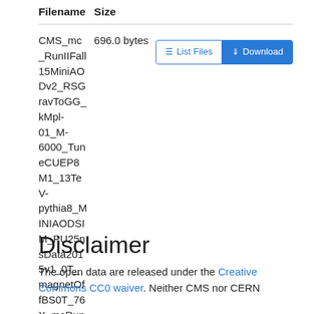| Filename | Size |  |
| --- | --- | --- |
| CMS_mc_RunIIFall15MiniAODv2_RSGravToGG_kMpl-01_M-6000_TuneCUEP8M1_13TeV-pythia8_MINIAODSIM_PU25nsData2015v1_0T_magnetOffBS0T_76X_mcRun2_0T_v1-v1_40000_file_index.txt | 696.0 bytes | List Files  Download |
Disclaimer
The open data are released under the Creative Commons CC0 waiver. Neither CMS nor CERN